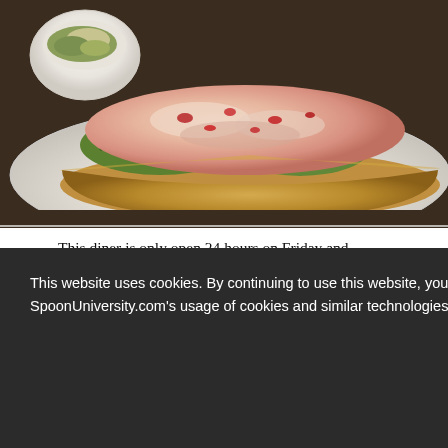[Figure (photo): Close-up photograph of a lobster roll sandwich on a white plate, with a small bowl of accompaniment visible in the upper left corner. The sandwich has generous lobster filling with greens on a toasted hoagie roll.]
This diner is only open 24 hours on Friday and Saturday specifically to accommodate the need for late night eats. Local patrons say the place hasn't changed in 50
[Figure (screenshot): HER CAMPUS advertisement banner with pink and teal colors reading 'START YOUR OWN CHAPTER']
with the iconic
om The
This website uses cookies. By continuing to use this website, you consent to SpoonUniversity.com's usage of cookies and similar technologies  Learn more
Got it!